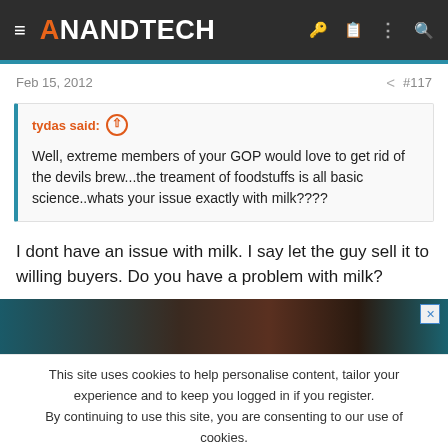AnandTech
Feb 15, 2012   #117
tydas said: ↑

Well, extreme members of your GOP would love to get rid of the devils brew...the treament of foodstuffs is all basic science..whats your issue exactly with milk????
I dont have an issue with milk. I say let the guy sell it to willing buyers. Do you have a problem with milk?
[Figure (screenshot): Advertisement banner image with dark reddish-brown background]
This site uses cookies to help personalise content, tailor your experience and to keep you logged in if you register.
By continuing to use this site, you are consenting to our use of cookies.